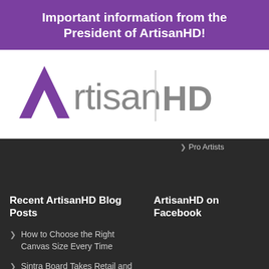Important information from the President of ArtisanHD!
[Figure (logo): ArtisanHD logo with purple triangle/arrow mark and gray 'rtisan' text, vertical bar separator, and gray bold 'HD' text]
Pro Artists
Recent ArtisanHD Blog Posts
ArtisanHD on Facebook
How to Choose the Right Canvas Size Every Time
Sintra Board Takes Retail and Display Signage to a Modern New Level
Public Domain Art: 10 Places to Find the Best